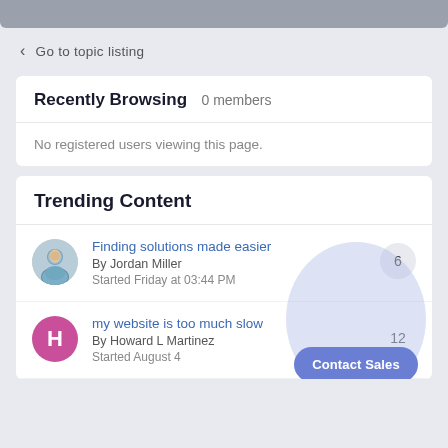< Go to topic listing
Recently Browsing  0 members
No registered users viewing this page.
Trending Content
Finding solutions made easier
By Jordan Miller
Started Friday at 03:44 PM
my website is too much slow
By Howard L Martinez
Started August 4
Contact Sales